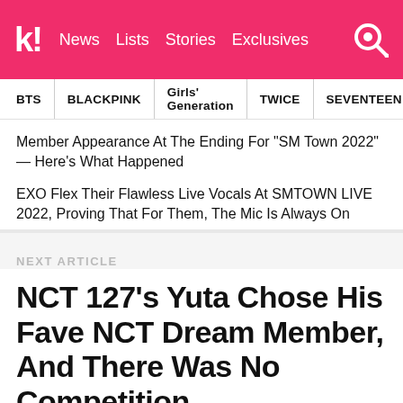k! News Lists Stories Exclusives
BTS  BLACKPINK  Girls' Generation  TWICE  SEVENTEEN
Member Appearance At The Ending For "SM Town 2022" — Here's What Happened
EXO Flex Their Flawless Live Vocals At SMTOWN LIVE 2022, Proving That For Them, The Mic Is Always On
NEXT ARTICLE
NCT 127's Yuta Chose His Fave NCT Dream Member, And There Was No Competition
If you know Yuta, you already saw it coming.